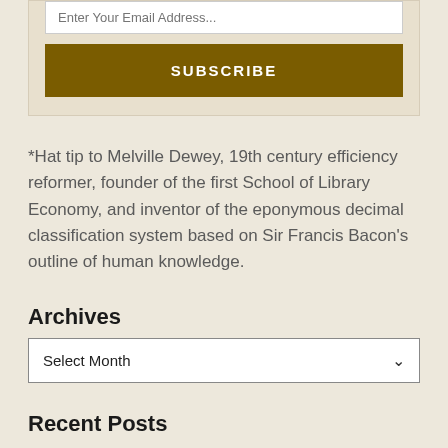Enter Your Email Address...
SUBSCRIBE
*Hat tip to Melville Dewey, 19th century efficiency reformer, founder of the first School of Library Economy, and inventor of the eponymous decimal classification system based on Sir Francis Bacon's outline of human knowledge.
Archives
Select Month
Recent Posts